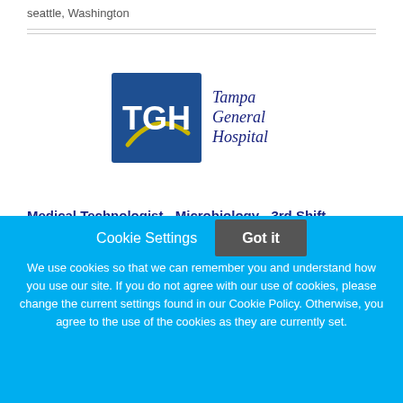seattle, Washington
[Figure (logo): Tampa General Hospital logo — blue square with TGH letters and yellow arc, plus 'Tampa General Hospital' text in dark blue]
Medical Technologist - Microbiology - 3rd Shift
Tampa General Hospital
Cookie Settings
Got it
We use cookies so that we can remember you and understand how you use our site. If you do not agree with our use of cookies, please change the current settings found in our Cookie Policy. Otherwise, you agree to the use of the cookies as they are currently set.